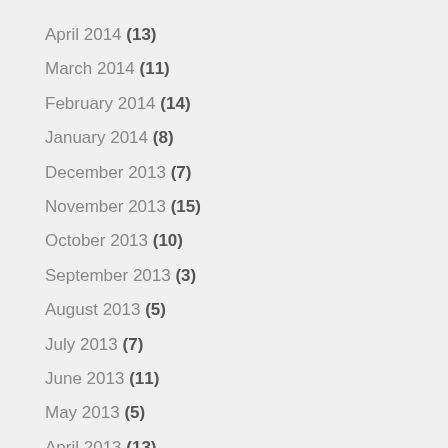April 2014 (13)
March 2014 (11)
February 2014 (14)
January 2014 (8)
December 2013 (7)
November 2013 (15)
October 2013 (10)
September 2013 (3)
August 2013 (5)
July 2013 (7)
June 2013 (11)
May 2013 (5)
April 2013 (13)
March 2013 (10)
February 2013 (4)